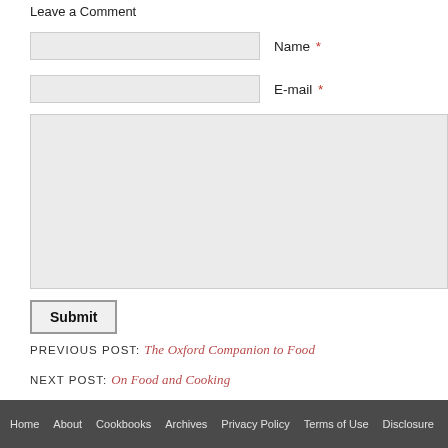Leave a Comment
Name *
E-mail *
Submit
PREVIOUS POST: The Oxford Companion to Food
NEXT POST: On Food and Cooking
Home  About  Cookbooks  Archives  Privacy Policy  Terms of Use  Disclosure  Site Map